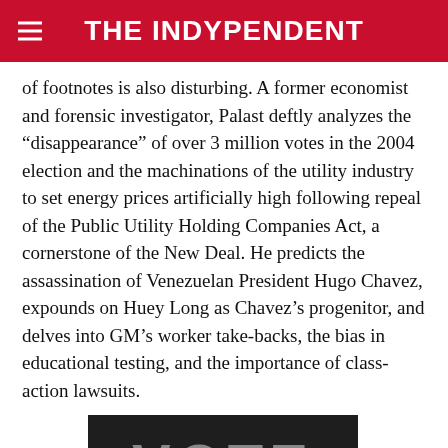THE INDYPENDENT
of footnotes is also disturbing. A former economist and forensic investigator, Palast deftly analyzes the “disappearance” of over 3 million votes in the 2004 election and the machinations of the utility industry to set energy prices artificially high following repeal of the Public Utility Holding Companies Act, a cornerstone of the New Deal. He predicts the assassination of Venezuelan President Hugo Chavez, expounds on Huey Long as Chavez’s progenitor, and delves into GM’s worker take-backs, the bias in educational testing, and the importance of class-action lawsuits.
[Figure (other): Dark banner image with the word VOTE in large grey letters on a black/dark background]